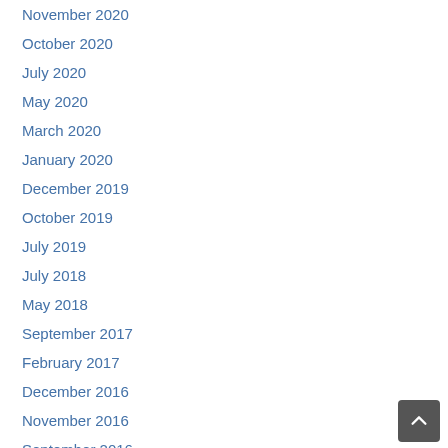November 2020
October 2020
July 2020
May 2020
March 2020
January 2020
December 2019
October 2019
July 2019
July 2018
May 2018
September 2017
February 2017
December 2016
November 2016
September 2016